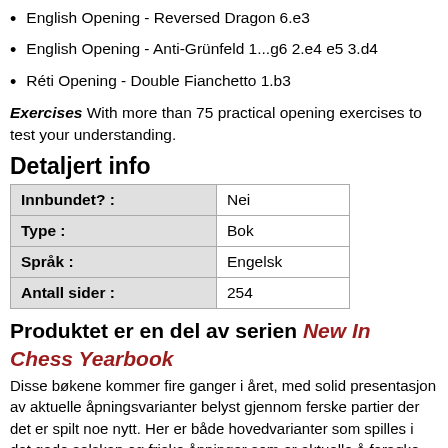English Opening - Reversed Dragon 6.e3
English Opening - Anti-Grünfeld 1...g6 2.e4 e5 3.d4
Réti Opening - Double Fianchetto 1.b3
Exercises With more than 75 practical opening exercises to test your understanding.
Detaljert info
| Innbundet? : | Nei |
| Type : | Bok |
| Språk : | Engelsk |
| Antall sider : | 254 |
Produktet er en del av serien New In Chess Yearbook
Disse bøkene kommer fire ganger i året, med solid presentasjon av aktuelle åpningsvarianter belyst gjennom ferske partier der det er spilt noe nytt. Her er både hovedvarianter som spilles i det gode selskap og friske åpninger som er aktuelle å forsøke mest på andre nivåer. Omtale av nye åpnnigsbøker har også en fast